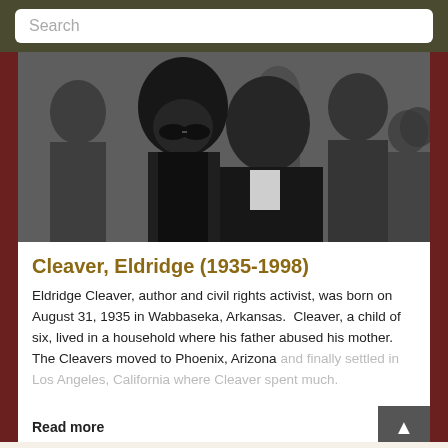Search
[Figure (photo): Black and white photograph of Eldridge Cleaver and Kathleen Cleaver along with other Black Panther Party members in a crowd. A woman with large afro and sunglasses is prominent in the foreground-left, a tall man in a jacket behind her, and other people visible in the background.]
Cleaver, Eldridge (1935-1998)
Eldridge Cleaver, author and civil rights activist, was born on August 31, 1935 in Wabbaseka, Arkansas. Cleaver, a child of six, lived in a household where his father abused his mother. The Cleavers moved to Phoenix, Arizona and finally settled in Los Angeles, California where Cleaver spent much...
Read more